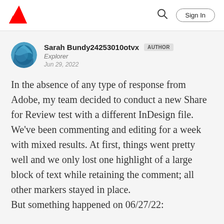Adobe | Sign In
Sarah Bundy24253010otvx  AUTHOR
Explorer
Jun 29, 2022
In the absence of any type of response from Adobe, my team decided to conduct a new Share for Review test with a different InDesign file. We've been commenting and editing for a week with mixed results. At first, things went pretty well and we only lost one highlight of a large block of text while retaining the comment; all other markers stayed in place.
But something happened on 06/27/22: